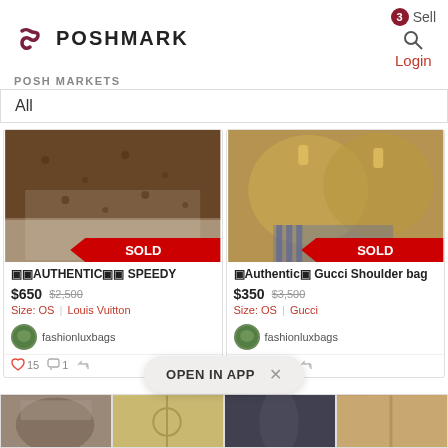[Figure (screenshot): Poshmark app header with logo, search icon, Sell button, and Login link]
POSH MARKETS
All
[Figure (photo): Louis Vuitton monogram bag with SOLD banner]
[Figure (photo): Gucci shoulder bag in gold/bronze leather with SOLD banner]
🅟🅟AUTHENTIC🅟🅟 SPEEDY
$650  $2,500
Size: OS  |  Louis Vuitton
🅟Authentic🅟 Gucci Shoulder bag
$350  $3,500
Size: OS  |  Gucci
fashionluxbags
fashionluxbags
♡ 15   💬 1   ↩
♡ 22   💬 1   ↩
OPEN IN APP  ×